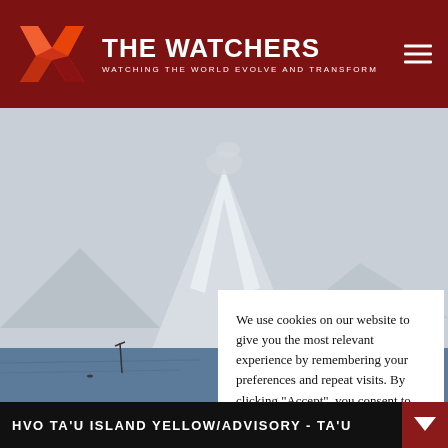THE WATCHERS — WATCHING THE WORLD EVOLVE AND TRANSFORM
[Figure (photo): Snow-capped volcanic mountain peak viewed from the sea, with a plume of steam or gas rising from the summit. Dark ocean water visible in the foreground.]
We use cookies on our website to give you the most relevant experience by remembering your preferences and repeat visits. By clicking “Accept”, you consent to the use of ALL the cookies.
Do not sell my personal information.
HVO TA’U ISLAND YELLOW/ADVISORY - TA’U